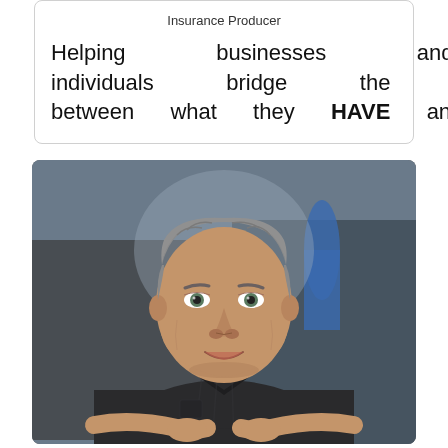Insurance Producer
Helping businesses and individuals bridge the gap between what they HAVE and …
[Figure (photo): Middle-aged man with grey hair, wearing a dark button-up shirt, arms crossed, smiling at camera, blurred vehicles in background]